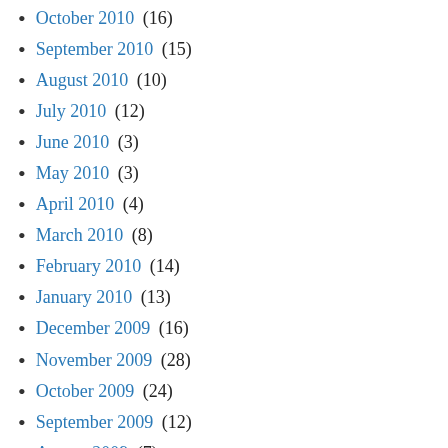October 2010 (16)
September 2010 (15)
August 2010 (10)
July 2010 (12)
June 2010 (3)
May 2010 (3)
April 2010 (4)
March 2010 (8)
February 2010 (14)
January 2010 (13)
December 2009 (16)
November 2009 (28)
October 2009 (24)
September 2009 (12)
August 2009 (7)
July 2009 (10)